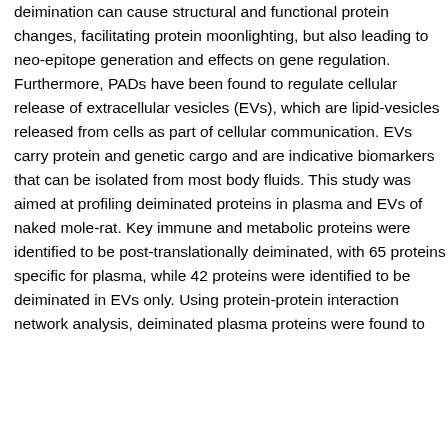deimination can cause structural and functional protein changes, facilitating protein moonlighting, but also leading to neo-epitope generation and effects on gene regulation. Furthermore, PADs have been found to regulate cellular release of extracellular vesicles (EVs), which are lipid-vesicles released from cells as part of cellular communication. EVs carry protein and genetic cargo and are indicative biomarkers that can be isolated from most body fluids. This study was aimed at profiling deiminated proteins in plasma and EVs of naked mole-rat. Key immune and metabolic proteins were identified to be post-translationally deiminated, with 65 proteins specific for plasma, while 42 proteins were identified to be deiminated in EVs only. Using protein-protein interaction network analysis, deiminated plasma proteins were found to